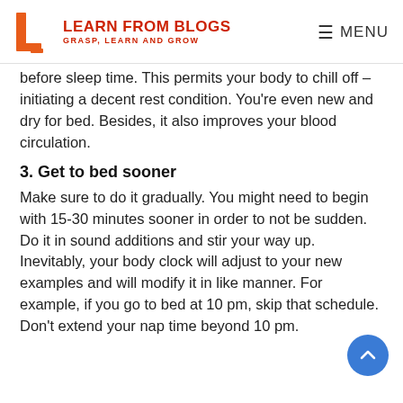LEARN FROM BLOGS — GRASP, LEARN AND GROW | MENU
before sleep time. This permits your body to chill off – initiating a decent rest condition. You're even new and dry for bed. Besides, it also improves your blood circulation.
3. Get to bed sooner
Make sure to do it gradually. You might need to begin with 15-30 minutes sooner in order to not be sudden. Do it in sound additions and stir your way up. Inevitably, your body clock will adjust to your new examples and will modify it in like manner. For example, if you go to bed at 10 pm, skip that schedule. Don't extend your nap time beyond 10 pm.